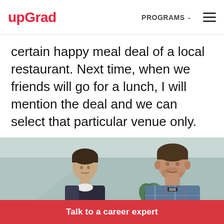upGrad | PROGRAMS ▾ ☰
certain happy meal deal of a local restaurant. Next time, when we friends will go for a lunch, I will mention the deal and we can select that particular venue only.
[Figure (photo): Two young men sitting together, one looking at a laptop or surface, the other smiling with hand on chin, in a room with a plant in the background.]
Talk to a career expert